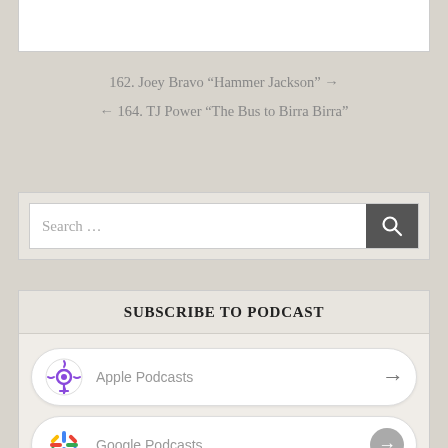162. Joey Bravo “Hammer Jackson” →
← 164. TJ Power “The Bus to Birra Birra”
Search …
SUBSCRIBE TO PODCAST
Apple Podcasts
Google Podcasts